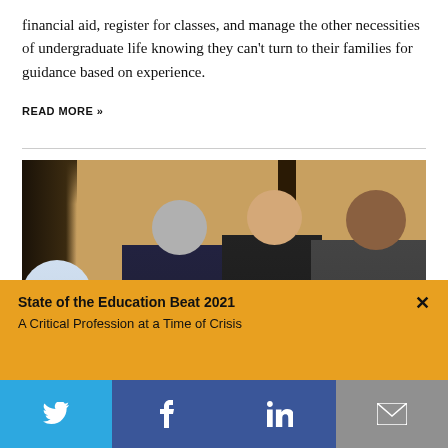financial aid, register for classes, and manage the other necessities of undergraduate life knowing they can't turn to their families for guidance based on experience.
READ MORE »
[Figure (photo): Panel discussion with three people sitting at a table with microphones; a woman in the center is speaking, another woman to the left, and a man to the right.]
State of the Education Beat 2021
A Critical Profession at a Time of Crisis